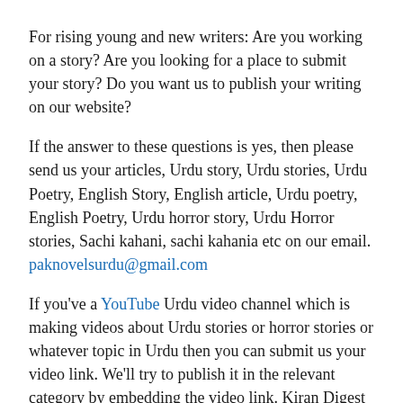For rising young and new writers: Are you working on a story? Are you looking for a place to submit your story? Do you want us to publish your writing on our website?
If the answer to these questions is yes, then please send us your articles, Urdu story, Urdu stories, Urdu Poetry, English Story, English article, Urdu poetry, English Poetry, Urdu horror story, Urdu Horror stories, Sachi kahani, sachi kahania etc on our email. paknovelsurdu@gmail.com
If you've a YouTube Urdu video channel which is making videos about Urdu stories or horror stories or whatever topic in Urdu then you can submit us your video link. We'll try to publish it in the relevant category by embedding the video link. Kiran Digest May 2020 Free Download PDF.
We'll publish your content on our website and in...